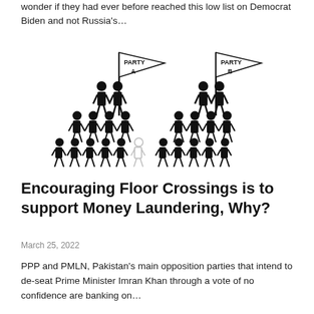wonder if they had ever before reached this low list on Democrat Biden and not Russia's…
[Figure (illustration): Illustration showing two groups of people (stick figures arranged in pyramid/crowd formation). Left group holds a flag labeled 'PARTY A', right group holds a flag labeled 'PARTY B'. One figure on the right side of the left group is shown in gray/outline, suggesting a floor-crosser switching parties.]
Encouraging Floor Crossings is to support Money Laundering, Why?
March 25, 2022
PPP and PMLN, Pakistan's main opposition parties that intend to de-seat Prime Minister Imran Khan through a vote of no confidence are banking on…